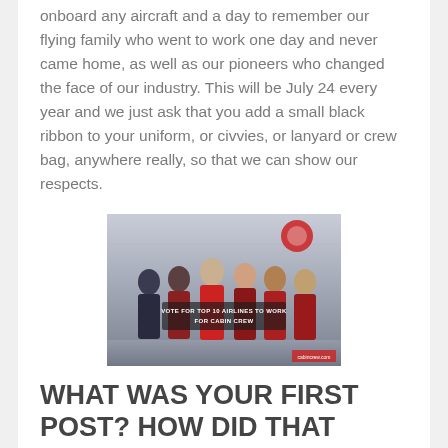onboard any aircraft and a day to remember our flying family who went to work one day and never came home, as well as our pioneers who changed the face of our industry. This will be July 24 every year and we just ask that you add a small black ribbon to your uniform, or civvies, or lanyard or crew bag, anywhere really, so that we can show our respects.
[Figure (photo): Group photo of cabin crew members in red uniforms, with text overlay reading 'VOTE FOR TOP 10 AIRLINES TO WORK FOR CABIN CREW']
WHAT WAS YOUR FIRST POST? HOW DID THAT MAKE YOU FEEL?
I honestly cannot really remember what my first post on social media was, but my first blog post